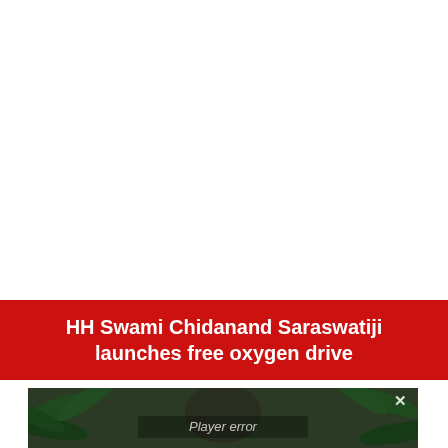HH Swami Chidanand Saraswatiji launches free oxygen drive
[Figure (screenshot): Video player screenshot showing a person surrounded by tropical foliage with a 'Player error' overlay message and a close (X) button in the top right corner. The background is dark green with palm leaves.]